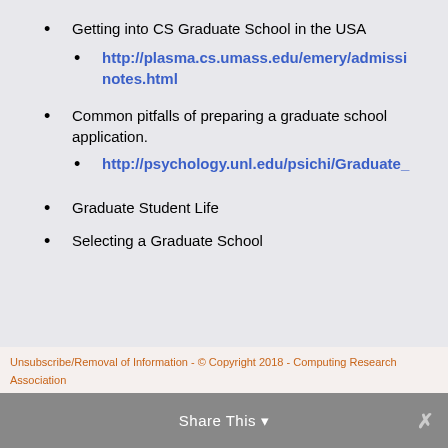Getting into CS Graduate School in the USA
http://plasma.cs.umass.edu/emery/admissi... notes.html
Common pitfalls of preparing a graduate school application.
http://psychology.unl.edu/psichi/Graduate_...
Graduate Student Life
Selecting a Graduate School
Unsubscribe/Removal of Information - © Copyright 2018 - Computing Research Association   Share This  ×